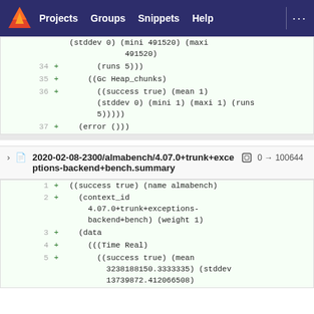GitLab navigation bar with Projects, Groups, Snippets, Help
[Figure (screenshot): Code diff view showing lines 34-37 with added lines: (runs 5))), ((Gc Heap_chunks), ((success true) (mean 1) (stddev 0) (mini 1) (maxi 1) (runs 5))))), (error ()))]
2020-02-08-2300/almabench/4.07.0+trunk+exceptions-backend+bench.summary  0 → 100644
[Figure (screenshot): Code diff view showing lines 1-5 with added lines: ((success true) (name almabench), (context_id 4.07.0+trunk+exceptions-backend+bench) (weight 1), (data, (((Time Real), ((success true) (mean 3238188150.3333335) (stddev 13739872.412066508)]